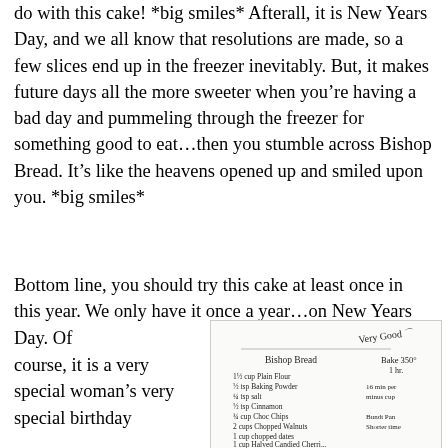do with this cake! *big smiles* Afterall, it is New Years Day, and we all know that resolutions are made, so a few slices end up in the freezer inevitably. But, it makes future days all the more sweeter when you're having a bad day and pummeling through the freezer for something good to eat...then you stumble across Bishop Bread. It's like the heavens opened up and smiled upon you. *big smiles*
Bottom line, you should try this cake at least once in this year. We only have it once a year...on New Years Day. Of course, it is a very special woman's very special birthday
[Figure (photo): Handwritten recipe card for Bishop Bread showing ingredients: 1½ cup Plain Flour, ½ tsp Baking Powder, ¼ tsp Salt, ½ tsp Cinnamon, ¾ cup Choc Chips, 2 cups Chopped Walnuts, 1 cup chopped dates, 1 cup Halved Candied Cherries. Bake 350° 1 hr. 16 min per minus cup. Bundt Pan. 'Very Good' written at top.]